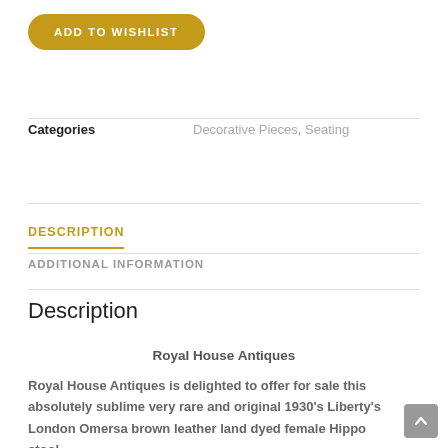ADD TO WISHLIST
Categories   Decorative Pieces, Seating
DESCRIPTION
ADDITIONAL INFORMATION
Description
Royal House Antiques
Royal House Antiques is delighted to offer for sale this absolutely sublime very rare and original 1930's Liberty's London Omersa brown leather land dyed female Hippo stool